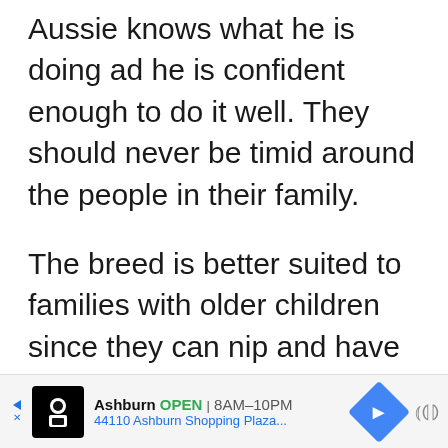Aussie knows what he is doing ad he is confident enough to do it well. They should never be timid around the people in their family.
The breed is better suited to families with older children since they can nip and have natural instincts to herd.
In addition, if their mental and exercise needs are not being met,
[Figure (other): Advertisement banner: Ashburn OPEN 8AM-10PM, 44110 Ashburn Shopping Plaza... with restaurant logo and navigation icon]